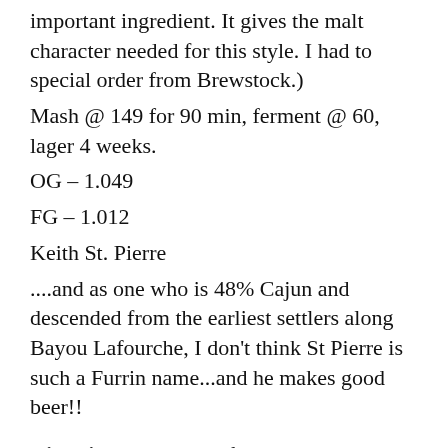important ingredient. It gives the malt character needed for this style. I had to special order from Brewstock.)
Mash @ 149 for 90 min, ferment @ 60, lager 4 weeks.
OG – 1.049
FG – 1.012
Keith St. Pierre
....and as one who is 48% Cajun and descended from the earliest settlers along Bayou Lafourche, I don't think St Pierre is such a Furrin name...and he makes good beer!!
Directions – Past and future articles mention plumbing parts that may not be found at the biox dealers so here is where I have found some less common items near DH which is the neighborhood I know best. Members are welcome to share any tips about other parts of the CCH empire...
Commerce Hardware, the Wavering Road...